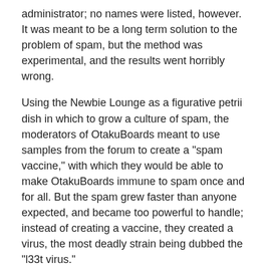administrator; no names were listed, however. It was meant to be a long term solution to the problem of spam, but the method was experimental, and the results went horribly wrong.
Using the Newbie Lounge as a figurative petrii dish in which to grow a culture of spam, the moderators of OtakuBoards meant to use samples from the forum to create a "spam vaccine," with which they would be able to make OtakuBoards immune to spam once and for all. But the spam grew faster than anyone expected, and became too powerful to handle; instead of creating a vaccine, they created a virus, the most deadly strain being dubbed the "l33t virus."
An excerpt from the report says that, "The results of this 'vaccine' are horrible to view. Not even members who were going to be banned deserve this." And continuing, it tells of the lesser viruses' outbreak from the controlled environments accessible only by staff into the public threads of the Newbie Lounge. The spam in the forum rose to an all time high, reaching uncontrollable levels, as the moderators desperately tried to prevent the outbreak of the l33t virus while keeping all evidence